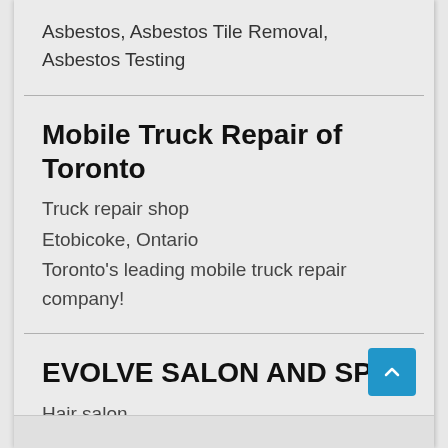Asbestos, Asbestos Tile Removal, Asbestos Testing
Mobile Truck Repair of Toronto
Truck repair shop
Etobicoke, Ontario
Toronto's leading mobile truck repair company!
EVOLVE SALON AND SPA
Hair salon
Ashburn, VA
Hair Salon